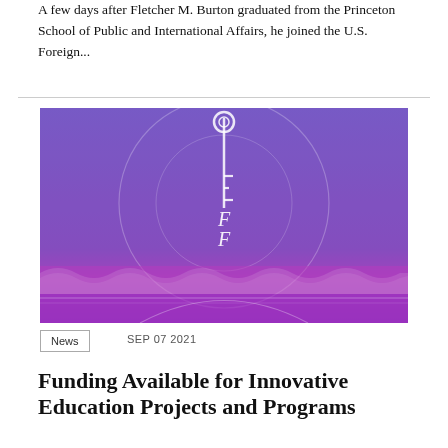A few days after Fletcher M. Burton graduated from the Princeton School of Public and International Affairs, he joined the U.S. Foreign...
[Figure (photo): Purple/violet photograph showing an ornate key symbol with the letters F and F (Fletcher Forum logo) centered in a circular design, with decorative wave-like border elements at the bottom, set against a textured purple background.]
News
SEP 07 2021
Funding Available for Innovative Education Projects and Programs